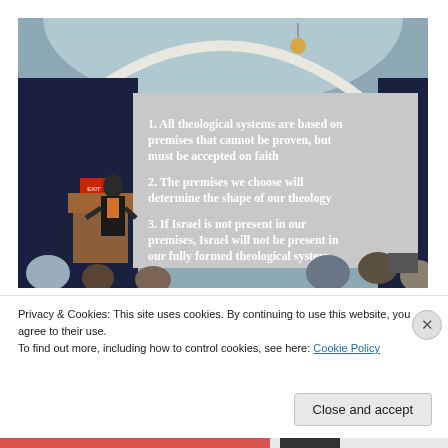[Figure (photo): A speaker stands at a podium in a church-like hall with arched ceiling, presenting in front of a large projection screen. The screen displays three theological premises in white text on a grey background: 1. All theological systems are based on premises that cannot be proven, but must be accepted on faith. 2. The premises we choose will determine the shape of our theology. 3. If Israel is not present in our premises, Israel will not be present in our fully formed theological system. An audience is visible in the foreground.]
Privacy & Cookies: This site uses cookies. By continuing to use this website, you agree to their use.
To find out more, including how to control cookies, see here: Cookie Policy